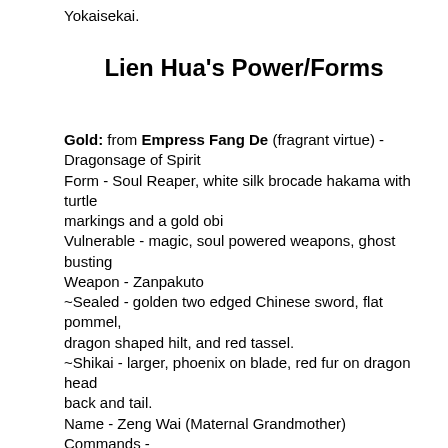Yokaisekai.
Lien Hua's Power/Forms
Gold: from Empress Fang De (fragrant virtue) - Dragonsage of Spirit
Form - Soul Reaper, white silk brocade hakama with turtle markings and a gold obi
Vulnerable - magic, soul powered weapons, ghost busting
Weapon - Zanpakuto
~Sealed - golden two edged Chinese sword, flat pommel, dragon shaped hilt, and red tassel.
~Shikai - larger, phoenix on blade, red fur on dragon head back and tail.
Name - Zeng Wai (Maternal Grandmother)
Commands -
*ai (love) Lotus petal barrier
*da (bite) Dragon head flies out to bite
*fang shou (protect) whirlwind dragon surrounds and claws, outward
*chi (cure) dragon/phoenix medallion symbol under foot, perfume rises
~Bankai - Golden Dragon with a red mane